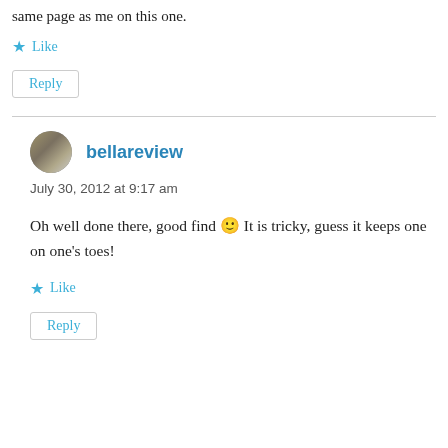same page as me on this one.
★ Like
Reply
bellareview
July 30, 2012 at 9:17 am
Oh well done there, good find 🙂 It is tricky, guess it keeps one on one's toes!
★ Like
Reply